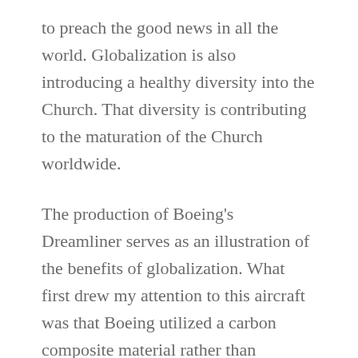to preach the good news in all the world. Globalization is also introducing a healthy diversity into the Church. That diversity is contributing to the maturation of the Church worldwide.
The production of Boeing's Dreamliner serves as an illustration of the benefits of globalization. What first drew my attention to this aircraft was that Boeing utilized a carbon composite material rather than aluminum in the manufacture of the plane's body. I remembered that Learjet,